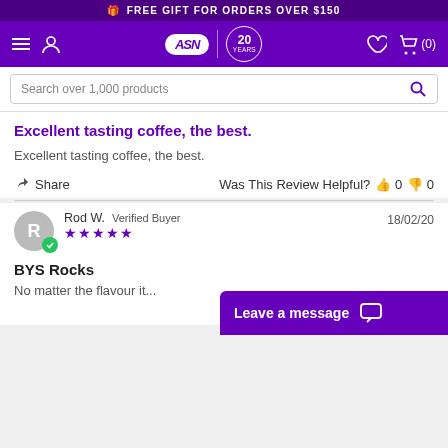FREE GIFT FOR ORDERS OVER $150
[Figure (screenshot): ASN store navigation bar with logo, 20 years badge, hamburger menu, user icon, heart icon, and cart icon showing (0)]
Search over 1,000 products
Excellent tasting coffee, the best.
Excellent tasting coffee, the best.
Share   Was This Review Helpful?  👍 0  👎 0
Rod W.  Verified Buyer   ★★★★★   18/02/20
BYS Rocks
No matter the flavour it...
Leave a message